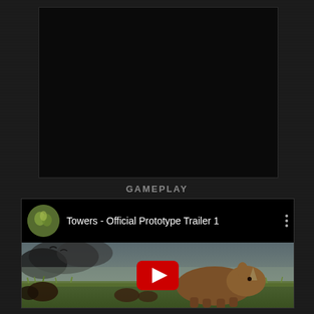[Figure (screenshot): Dark video or image area at top of page, showing a very dark/black content area against a dark textured background]
GAMEPLAY
[Figure (screenshot): YouTube embedded video player showing 'Towers - Official Prototype Trailer 1' with a thumbnail depicting a large rhinoceros-like creature in a grassy field with smoke in the background. A YouTube play button is overlaid in the center. The video header shows a circular avatar/channel icon on the left and three-dot menu on the right.]